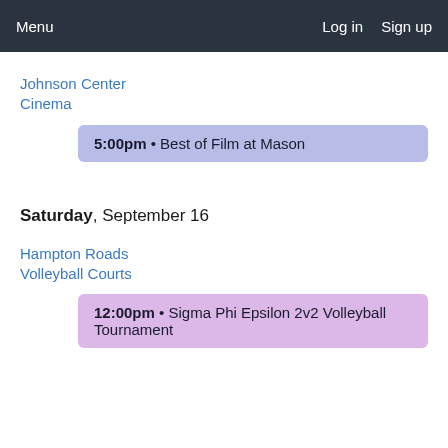Menu   Log in   Sign up
Johnson Center Cinema
5:00pm • Best of Film at Mason
Saturday, September 16
Hampton Roads Volleyball Courts
12:00pm • Sigma Phi Epsilon 2v2 Volleyball Tournament